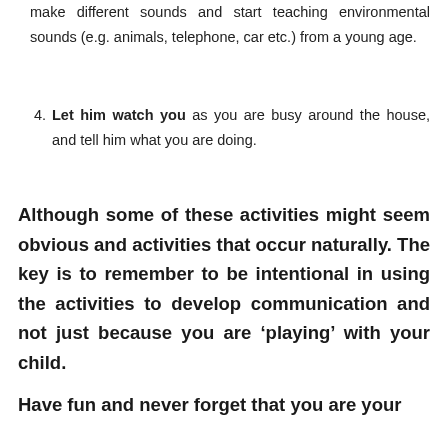make different sounds and start teaching environmental sounds (e.g. animals, telephone, car etc.) from a young age.
4. Let him watch you as you are busy around the house, and tell him what you are doing.
Although some of these activities might seem obvious and activities that occur naturally. The key is to remember to be intentional in using the activities to develop communication and not just because you are ‘playing’ with your child.
Have fun and never forget that you are your